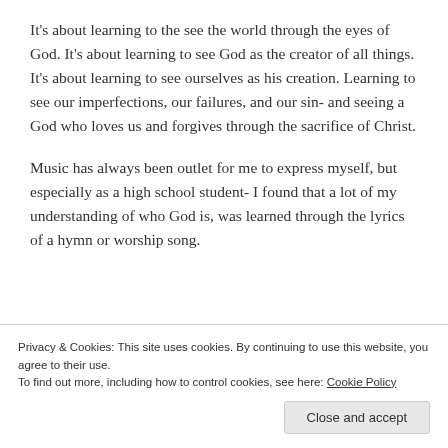It's about learning to the see the world through the eyes of God. It's about learning to see God as the creator of all things. It's about learning to see ourselves as his creation. Learning to see our imperfections, our failures, and our sin- and seeing a God who loves us and forgives through the sacrifice of Christ.
Music has always been outlet for me to express myself, but especially as a high school student- I found that a lot of my understanding of who God is, was learned through the lyrics of a hymn or worship song.
Privacy & Cookies: This site uses cookies. By continuing to use this website, you agree to their use.
To find out more, including how to control cookies, see here: Cookie Policy